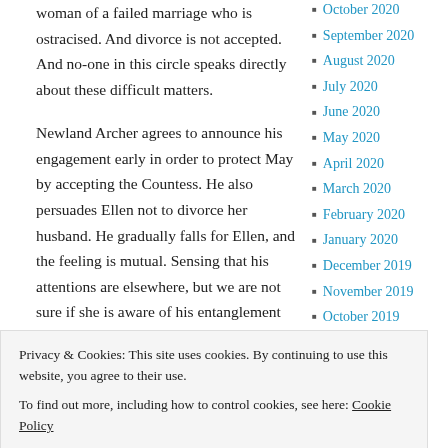woman of a failed marriage who is ostracised. And divorce is not accepted. And no-one in this circle speaks directly about these difficult matters.
Newland Archer agrees to announce his engagement early in order to protect May by accepting the Countess. He also persuades Ellen not to divorce her husband. He gradually falls for Ellen, and the feeling is mutual. Sensing that his attentions are elsewhere, but we are not sure if she is aware of his entanglement with Ellen, May offers to release Archer from the engagement, but he feels
October 2020
September 2020
August 2020
July 2020
June 2020
May 2020
April 2020
March 2020
February 2020
January 2020
December 2019
November 2019
October 2019
September 2019
Privacy & Cookies: This site uses cookies. By continuing to use this website, you agree to their use.
To find out more, including how to control cookies, see here: Cookie Policy
and follow Ellen to Europe. May reveals that
April 2019